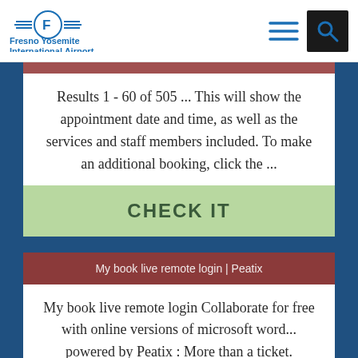[Figure (logo): Fresno Yosemite International Airport logo with stylized F in circle and three horizontal lines on each side, blue color, with text 'Fresno Yosemite International Airport' below]
Results 1 - 60 of 505 ... This will show the appointment date and time, as well as the services and staff members included. To make an additional booking, click the ...
CHECK IT
My book live remote login | Peatix
My book live remote login Collaborate for free with online versions of microsoft word... powered by Peatix : More than a ticket.